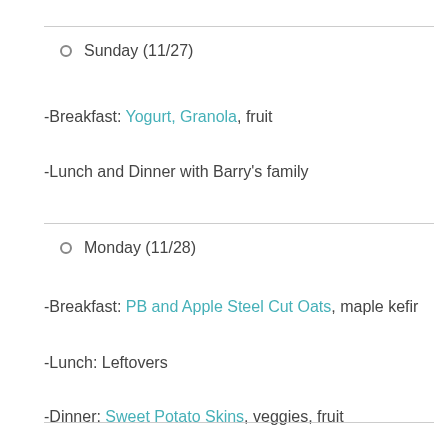Sunday (11/27)
-Breakfast: Yogurt, Granola, fruit
-Lunch and Dinner with Barry's family
Monday (11/28)
-Breakfast: PB and Apple Steel Cut Oats, maple kefir
-Lunch: Leftovers
-Dinner: Sweet Potato Skins, veggies, fruit